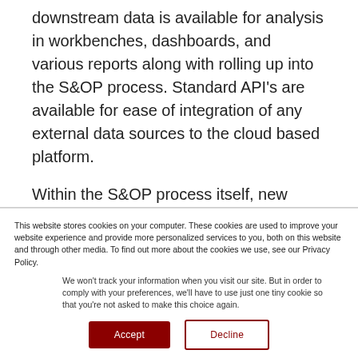downstream data is available for analysis in workbenches, dashboards, and various reports along with rolling up into the S&OP process. Standard API's are available for ease of integration of any external data sources to the cloud based platform.
Within the S&OP process itself, new product
This website stores cookies on your computer. These cookies are used to improve your website experience and provide more personalized services to you, both on this website and through other media. To find out more about the cookies we use, see our Privacy Policy.
We won't track your information when you visit our site. But in order to comply with your preferences, we'll have to use just one tiny cookie so that you're not asked to make this choice again.
Accept
Decline